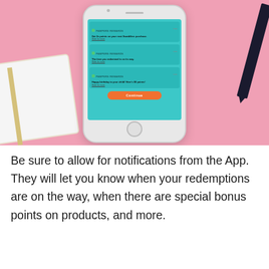[Figure (photo): A smartphone displaying a Pampers Rewards app notification screen with three push notifications and an orange Continue button, placed on a pink surface with a notebook and pencil nearby.]
Be sure to allow for notifications from the App. They will let you know when your redemptions are on the way, when there are special bonus points on products, and more.